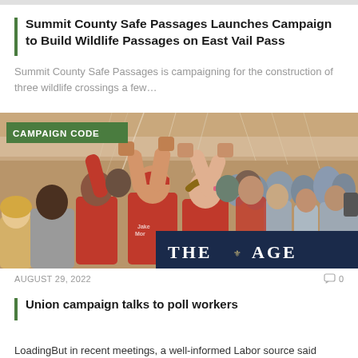Summit County Safe Passages Launches Campaign to Build Wildlife Passages on East Vail Pass
Summit County Safe Passages is campaigning for the construction of three wildlife crossings a few…
[Figure (photo): Crowd of people in red shirts celebrating with fists raised at what appears to be a political campaign event. A green 'CAMPAIGN CODE' badge overlays the top-left corner. A dark navy banner reading 'THE AGE' overlays the bottom-right corner.]
AUGUST 29, 2022
Union campaign talks to poll workers
LoadingBut in recent meetings, a well-informed Labor source said